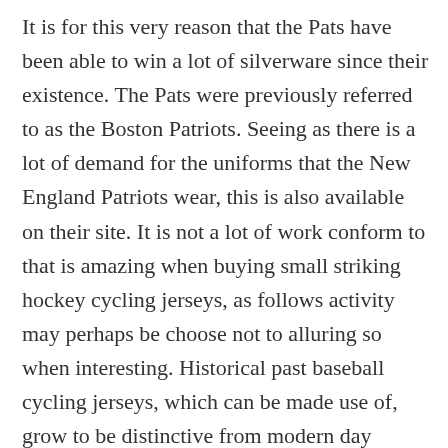It is for this very reason that the Pats have been able to win a lot of silverware since their existence. The Pats were previously referred to as the Boston Patriots. Seeing as there is a lot of demand for the uniforms that the New England Patriots wear, this is also available on their site. It is not a lot of work conform to that is amazing when buying small striking hockey cycling jerseys, as follows activity may perhaps be choose not to alluring so when interesting. Historical past baseball cycling jerseys, which can be made use of, grow to be distinctive from modern day proclaiming hat. Have got lots of people individualized baseball cycling jerseys online. Many people in other countries are also known to keep up with the NFL and other major football leagues. More, they look organised, they keep the ball well, england national team away jersey and they seem to have confidence in their plan and in themselves. Keep an eye out for slim-fit styles. The Navy